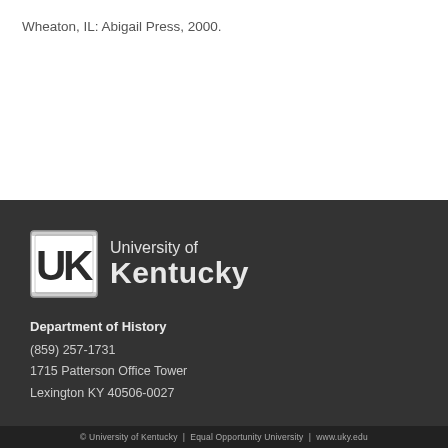Wheaton, IL: Abigail Press, 2000.
[Figure (logo): University of Kentucky logo with interlocking UK letters and text 'University of Kentucky']
Department of History
(859) 257-1731
1715 Patterson Office Tower
Lexington KY 40506-0027
© University of Kentucky | Equal Opportunity University | www.uky.edu